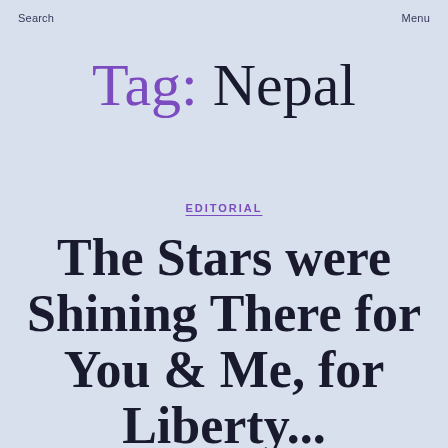Search   Menu
Tag: Nepal
EDITORIAL
The Stars were Shining There for You & Me, for Liberty...